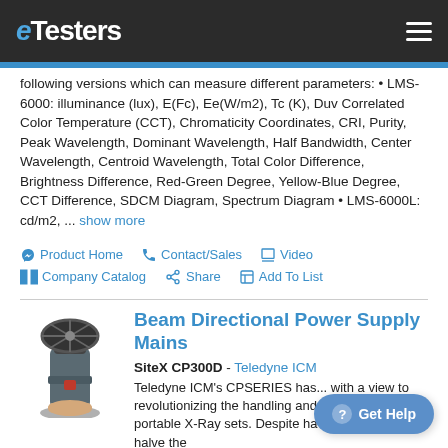eTesters
following versions which can measure different parameters: • LMS-6000: illuminance (lux), E(Fc), Ee(W/m2), Tc (K), Duv Correlated Color Temperature (CCT), Chromaticity Coordinates, CRI, Purity, Peak Wavelength, Dominant Wavelength, Half Bandwidth, Center Wavelength, Centroid Wavelength, Total Color Difference, Brightness Difference, Red-Green Degree, Yellow-Blue Degree, CCT Difference, SDCM Diagram, Spectrum Diagram • LMS-6000L: cd/m2, ... show more
Product Home
Contact/Sales
Video
Company Catalog
Share
Add To List
[Figure (photo): Photo of SiteX CP300D Beam Directional Power Supply Mains device, a cylindrical instrument with a circular top head held by a hand]
Beam Directional Power Supply Mains
SiteX CP300D - Teledyne ICM
Teledyne ICM's CPSERIES has ... with a view to revolutionizing the handling and performance of portable X-Ray sets. Despite having managed to halve the